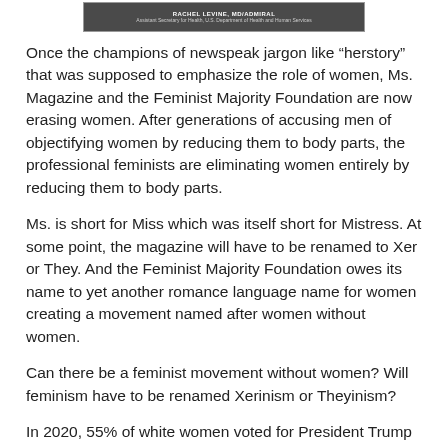[Figure (screenshot): Partial image/screenshot showing a name bar with text about Assistant Secretary for Health, U.S. Department of Health and Human Services]
Once the champions of newspeak jargon like “herstory” that was supposed to emphasize the role of women, Ms. Magazine and the Feminist Majority Foundation are now erasing women. After generations of accusing men of objectifying women by reducing them to body parts, the professional feminists are eliminating women entirely by reducing them to body parts.
Ms. is short for Miss which was itself short for Mistress. At some point, the magazine will have to be renamed to Xer or They. And the Feminist Majority Foundation owes its name to yet another romance language name for women creating a movement named after women without women.
Can there be a feminist movement without women? Will feminism have to be renamed Xerinism or Theyinism?
In 2020, 55% of white women voted for President Trump despite a drumbeat of denunciations of “white women” in the previous election. White women had built the feminist movement which then read them out of the movement. But